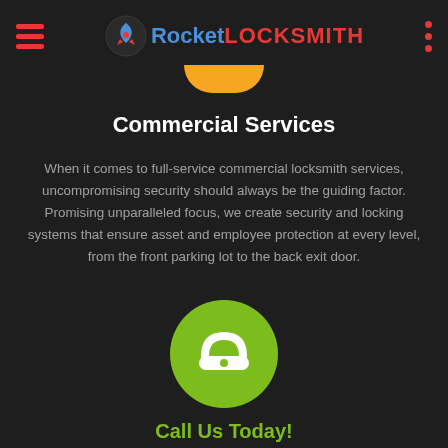Rocket LOCKSMITH
Commercial Services
When it comes to full-service commercial locksmith services, uncompromising security should always be the guiding factor. Promising unparalleled focus, we create security and locking systems that ensure asset and employee protection at every level, from the front parking lot to the back exit door.
[Figure (illustration): Green circle button with white telephone icon]
Call Us Today!
For emergency lockout services call our mobile